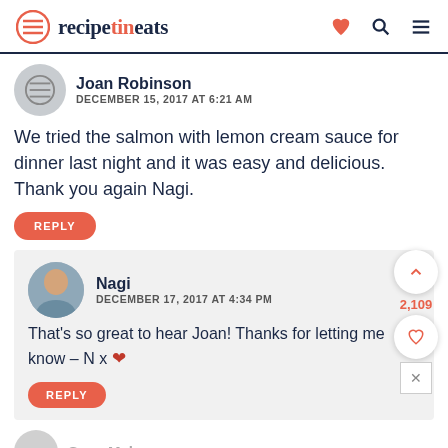recipetineats
Joan Robinson
DECEMBER 15, 2017 AT 6:21 AM
We tried the salmon with lemon cream sauce for dinner last night and it was easy and delicious. Thank you again Nagi.
REPLY
Nagi
DECEMBER 17, 2017 AT 4:34 PM
That's so great to hear Joan! Thanks for letting me know – N x ❤
REPLY
2,109
Sean Mahan